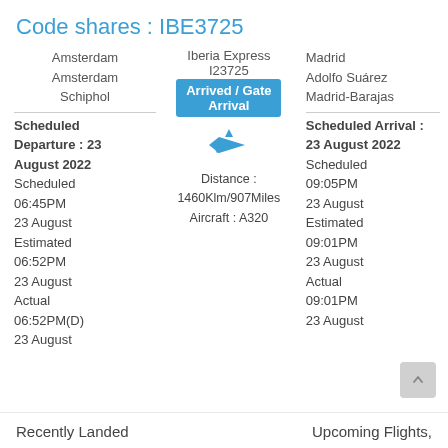Code shares : IBE3725
Amsterdam
Amsterdam Schiphol
Iberia Express
I23725
Arrived / Gate Arrival
Madrid
Adolfo Suárez
Madrid-Barajas
Scheduled Departure : 23 August 2022
Scheduled 06:45PM 23 August
Estimated 06:52PM 23 August
Actual 06:52PM(D) 23 August
[Figure (illustration): Blue airplane icon pointing right]
Distance : 1460Klm/907Miles
Aircraft : A320
Scheduled Arrival : 23 August 2022
Scheduled 09:05PM 23 August
Estimated 09:01PM 23 August
Actual 09:01PM 23 August
Recently Landed
Upcoming Flights,